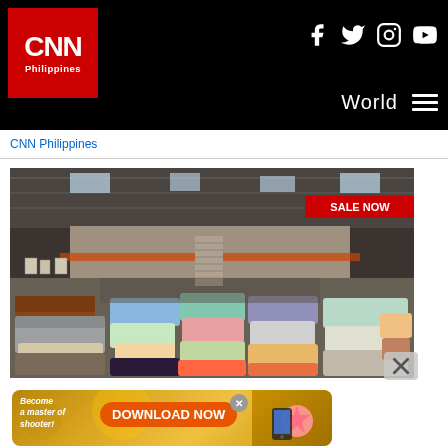CNN Philippines
CNN Philippines
[Figure (photo): Wide-angle view of a large furniture showroom with rows of sofas and couches in various colors on a warehouse floor, sale banners visible overhead]
[Figure (infographic): Advertisement banner: Become a master of shooter! DOWNLOAD NOW button on golden gradient background with game character on right side]